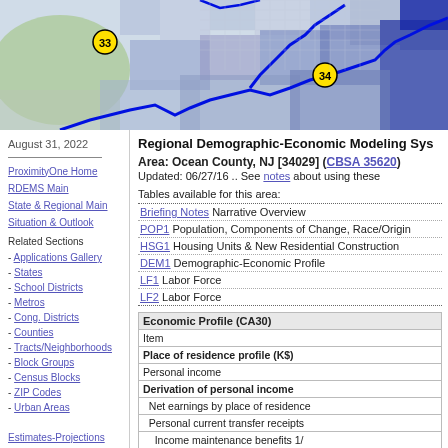[Figure (map): Regional map showing census tracts/districts in blue tones with highlighted boundaries, markers labeled 33 and 34]
August 31, 2022
Regional Demographic-Economic Modeling Sys...
Area: Ocean County, NJ [34029] (CBSA 35620)
Updated: 06/27/16 .. See notes about using these
ProximityOne Home
RDEMS Main
State & Regional Main
Situation & Outlook
Related Sections
- Applications Gallery
- States
- School Districts
- Metros
- Cong. Districts
- Counties
- Tracts/Neighborhoods
- Block Groups
- Census Blocks
- ZIP Codes
- Urban Areas
Estimates-Projections
- 2060 Demographic
Tables available for this area:
Briefing Notes Narrative Overview
POP1 Population, Components of Change, Race/Origin...
HSG1 Housing Units & New Residential Construction
DEM1 Demographic-Economic Profile
LF1 Labor Force
LF2 Labor Force
| Item |
| --- |
| Economic Profile (CA30) |
| Place of residence profile (K$) |
| Personal income |
| Derivation of personal income |
| Net earnings by place of residence |
| Personal current transfer receipts |
| Income maintenance benefits 1/ |